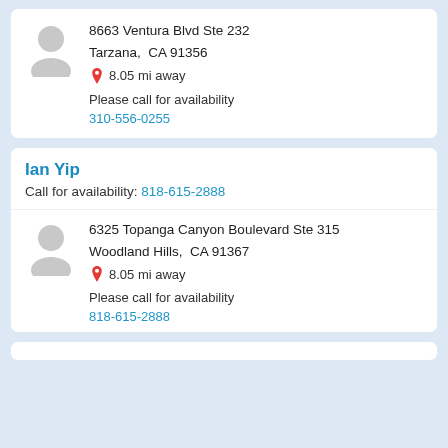[Figure (other): Provider card with avatar, address 8663 Ventura Blvd Ste 232, Tarzana CA 91356, 8.05 mi away, phone 310-556-0255]
8663 Ventura Blvd Ste 232
Tarzana,  CA 91356
8.05 mi away
Please call for availability
310-556-0255
Ian Yip
Call for availability: 818-615-2888
6325 Topanga Canyon Boulevard Ste 315
Woodland Hills,  CA 91367
8.05 mi away
Please call for availability
818-615-2888